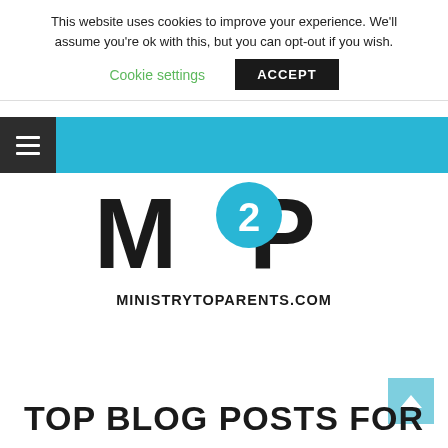This website uses cookies to improve your experience. We'll assume you're ok with this, but you can opt-out if you wish.
Cookie settings   ACCEPT
[Figure (logo): M2P Ministry To Parents logo — bold black stylized letters M2P with a blue speech bubble containing a white 2, and MINISTRYTOPARENTS.COM below in bold black text]
TOP BLOG POSTS FOR